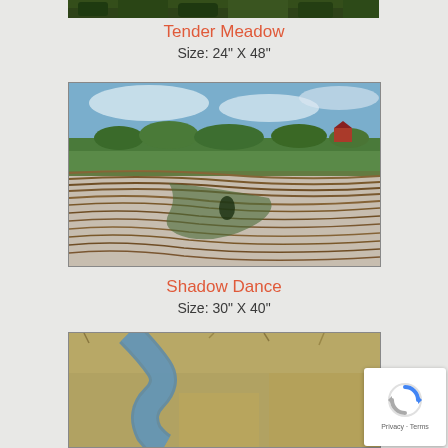[Figure (photo): Partial top edge of a painting showing dark green treetops]
Tender Meadow
Size: 24" X 48"
[Figure (photo): Painting of rolling farmland with plowed fields showing curved contour lines in brown and green tones, blue sky with clouds, trees and red barn in background]
Shadow Dance
Size: 30" X 40"
[Figure (photo): Partial painting showing a winding blue stream or river through golden brown marsh grass and sandy banks]